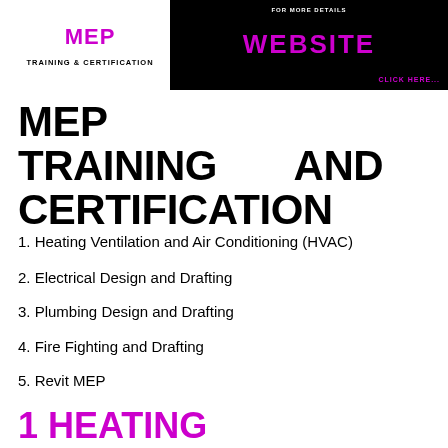[Figure (logo): MEP Training & Certification logo on white background with magenta/purple MEP text and bold black TRAINING & CERTIFICATION text]
[Figure (infographic): Black banner with white text FOR MORE DETAILS, magenta WEBSITE in large text, and magenta CLICK HERE... in bottom right]
MEP TRAINING AND CERTIFICATION
1. Heating Ventilation and Air Conditioning (HVAC)
2. Electrical Design and Drafting
3. Plumbing Design and Drafting
4. Fire Fighting and Drafting
5. Revit MEP
1 HEATING VENTILATION & AIR